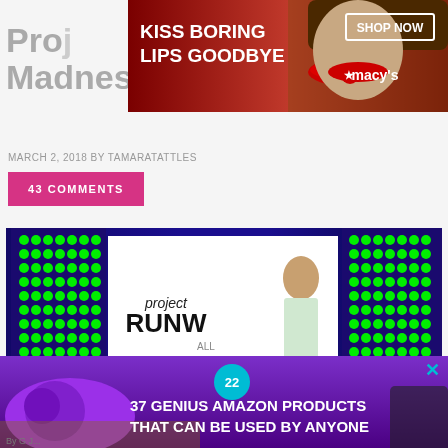[Figure (photo): Macy's advertisement banner: 'KISS BORING LIPS GOODBYE' with woman wearing red lipstick, SHOP NOW button and Macy's star logo]
Project Runway, All Stars Madness
MARCH 2, 2018 BY TAMARATATTLES
43 COMMENTS
[Figure (photo): Project Runway All Stars set with LED dot panel backdrop in green and blue, model visible, TAMARATATTLES.COM watermark, CLOSE button overlay]
[Figure (photo): Advertisement overlay: purple headphones on wood surface, '37 GENIUS AMAZON PRODUCTS THAT CAN BE USED BY ANYONE', badge with '22', X close button]